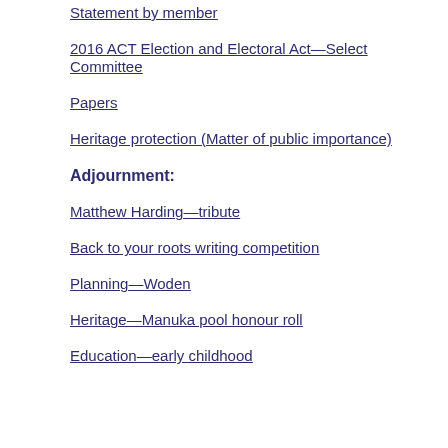Statement by member
2016 ACT Election and Electoral Act—Select Committee
Papers
Heritage protection (Matter of public importance)
Adjournment:
Matthew Harding—tribute
Back to your roots writing competition
Planning—Woden
Heritage—Manuka pool honour roll
Education—early childhood